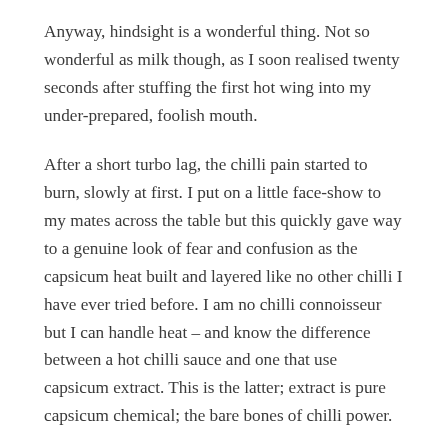Anyway, hindsight is a wonderful thing. Not so wonderful as milk though, as I soon realised twenty seconds after stuffing the first hot wing into my under-prepared, foolish mouth.
After a short turbo lag, the chilli pain started to burn, slowly at first. I put on a little face-show to my mates across the table but this quickly gave way to a genuine look of fear and confusion as the capsicum heat built and layered like no other chilli I have ever tried before. I am no chilli connoisseur but I can handle heat – and know the difference between a hot chilli sauce and one that use capsicum extract. This is the latter; extract is pure capsicum chemical; the bare bones of chilli power.